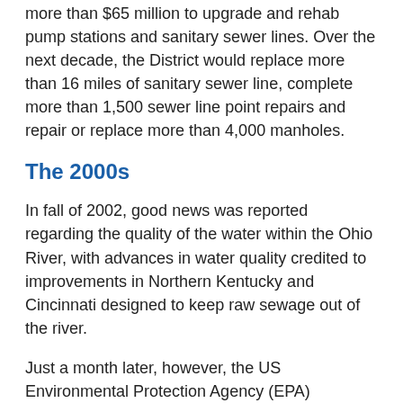more than $65 million to upgrade and rehab pump stations and sanitary sewer lines. Over the next decade, the District would replace more than 16 miles of sanitary sewer line, complete more than 1,500 sewer line point repairs and repair or replace more than 4,000 manholes.
The 2000s
In fall of 2002, good news was reported regarding the quality of the water within the Ohio River, with advances in water quality credited to improvements in Northern Kentucky and Cincinnati designed to keep raw sewage out of the river.
Just a month later, however, the US Environmental Protection Agency (EPA) concluded that Kentucky was failing to adequately protect as much as two-thirds of its rivers, streams and lakes from being harmed by pollution and issued water quality standard for